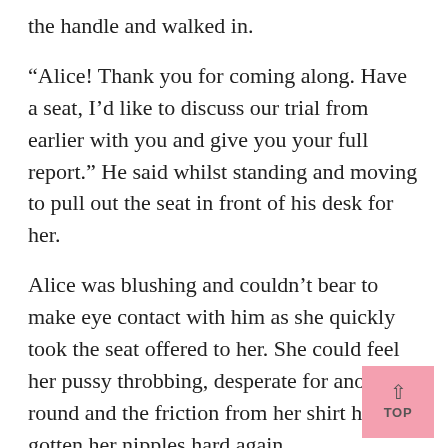the handle and walked in.
“Alice! Thank you for coming along. Have a seat, I’d like to discuss our trial from earlier with you and give you your full report.” He said whilst standing and moving to pull out the seat in front of his desk for her.
Alice was blushing and couldn’t bear to make eye contact with him as she quickly took the seat offered to her. She could feel her pussy throbbing, desperate for another round and the friction from her shirt had gotten her nipples hard again.
“Your response to the double dose was fanta perhaps we should see how the single dose is comparison but ultimately I think I’ll be keeping you